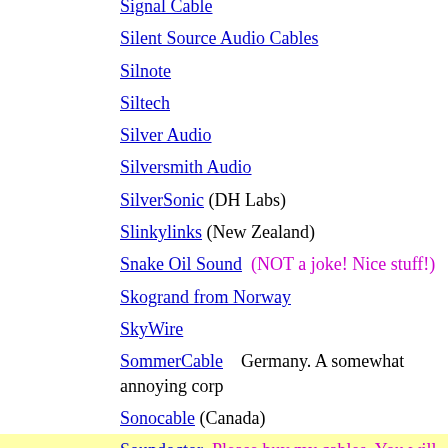Signal Cable
Silent Source Audio Cables
Silnote
Siltech
Silver Audio
Silversmith Audio
SilverSonic (DH Labs)
Slinkylinks (New Zealand)
Snake Oil Sound  (NOT a joke! Nice stuff!)
Skogrand from Norway
SkyWire
SommerCable    Germany. A somewhat annoying corp
Sonocable (Canada)
Soundoctor  Please buy my cables. You will lo
SoundString Cables